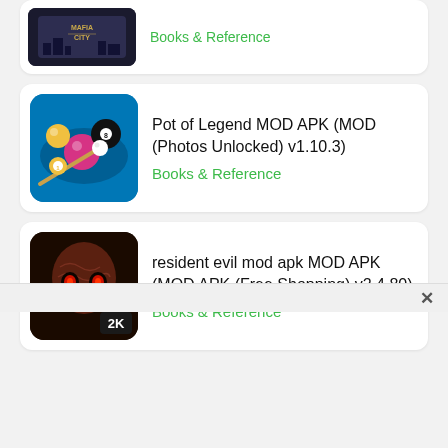[Figure (screenshot): Partial card showing Mafia City game icon and green category text at top]
Pot of Legend MOD APK (MOD (Photos Unlocked) v1.10.3)
Books & Reference
resident evil mod apk MOD APK (MOD APK (Free Shopping) v2.4.80)
Books & Reference